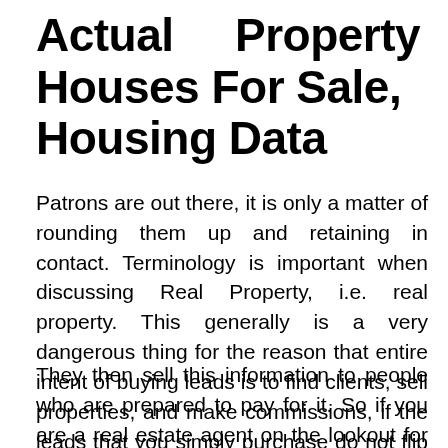Actual Property Listings, Houses For Sale, Housing Data
Patrons are out there, it is only a matter of rounding them up and retaining in contact. Terminology is important when discussing Real Property, i.e. real property. This generally is a very dangerous thing for the reason that entire intent of buying leads is to find clients, sell properties, and make commissions, if the leads that you simply purchase do not flip into commissions.
They then sell this information to people who are prepared to pay for it. So if you are a real estate agent on the lookout for actual property leads and both don't have the time to seek out your personal, or simply do not want